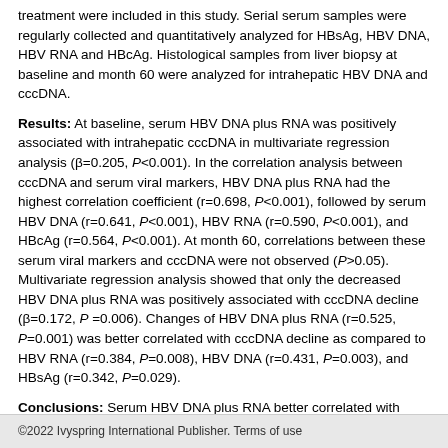treatment were included in this study. Serial serum samples were regularly collected and quantitatively analyzed for HBsAg, HBV DNA, HBV RNA and HBcAg. Histological samples from liver biopsy at baseline and month 60 were analyzed for intrahepatic HBV DNA and cccDNA.
Results: At baseline, serum HBV DNA plus RNA was positively associated with intrahepatic cccDNA in multivariate regression analysis (β=0.205, P<0.001). In the correlation analysis between cccDNA and serum viral markers, HBV DNA plus RNA had the highest correlation coefficient (r=0.698, P<0.001), followed by serum HBV DNA (r=0.641, P<0.001), HBV RNA (r=0.590, P<0.001), and HBcAg (r=0.564, P<0.001). At month 60, correlations between these serum viral markers and cccDNA were not observed (P>0.05). Multivariate regression analysis showed that only the decreased HBV DNA plus RNA was positively associated with cccDNA decline (β=0.172, P =0.006). Changes of HBV DNA plus RNA (r=0.525, P=0.001) was better correlated with cccDNA decline as compared to HBV RNA (r=0.384, P=0.008), HBV DNA (r=0.431, P=0.003), and HBsAg (r=0.342, P=0.029).
Conclusions: Serum HBV DNA plus RNA better correlated with intrahepatic cccDNA than other viral makers before and during NAs treatment in HBeAg positive CHB patients.
Keywords: chronic hepatitis B, pregenomic RNA, covalently closed circular DNA, nucleos(t)ide analogues, hepatitis B surface antigen
©2022 Ivyspring International Publisher. Terms of use